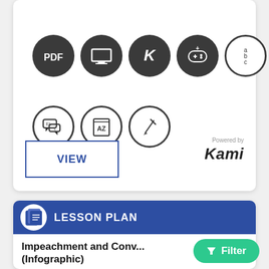[Figure (infographic): Eight circular icons representing content types: PDF (filled dark), presentation/screen (filled dark), K letter (filled dark), game controller (filled dark), a/b/c letters (outline), speech bubbles/ELL (outline), AZ book (outline), pencil (outline)]
VIEW
[Figure (logo): Powered by Kami logo]
[Figure (infographic): LESSON PLAN section header with document icon on dark blue background]
Impeachment and Conv... (Infographic)
Filter